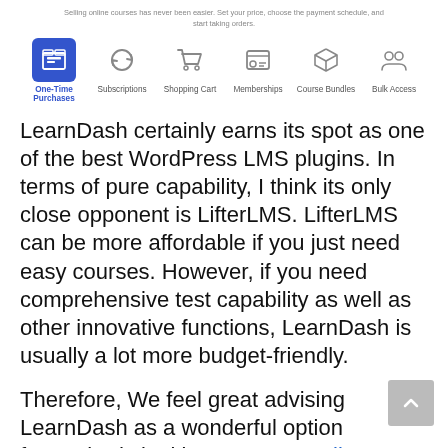Selling online courses has never been easier. Set your price, choose the payment schedule, and start taking orders.
[Figure (infographic): Row of six ecommerce/LMS feature icons: One-Time Purchases (active, blue background), Subscriptions, Shopping Cart, Memberships, Course Bundles, Bulk Access]
LearnDash certainly earns its spot as one of the best WordPress LMS plugins. In terms of pure capability, I think its only close opponent is LifterLMS. LifterLMS can be more affordable if you just need easy courses. However, if you need comprehensive test capability as well as other innovative functions, LearnDash is usually a lot more budget-friendly.
Therefore, We feel great advising LearnDash as a wonderful option for anybody looking to create online course